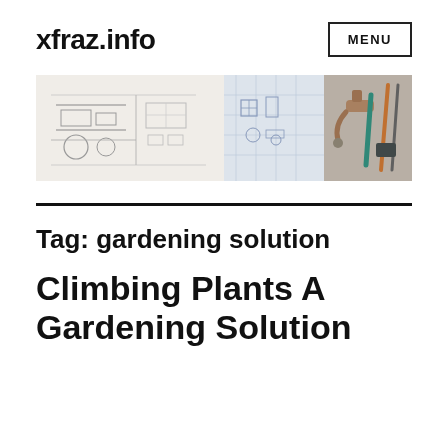xfraz.info
[Figure (illustration): Header banner image showing engineering/plumbing sketches on the left (hand-drawn technical drawings of machinery and pipes) and a copper faucet tap with tools on the right, on a white background.]
Tag: gardening solution
Climbing Plants A Gardening Solution